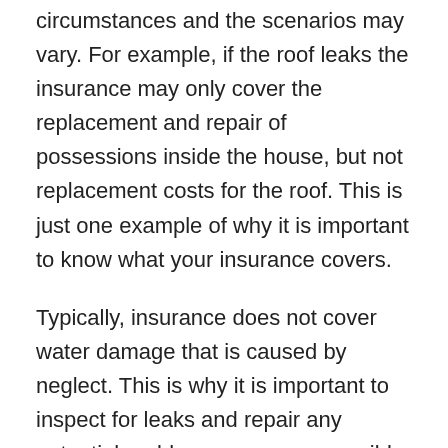circumstances and the scenarios may vary. For example, if the roof leaks the insurance may only cover the replacement and repair of possessions inside the house, but not replacement costs for the roof. This is just one example of why it is important to know what your insurance covers.
Typically, insurance does not cover water damage that is caused by neglect. This is why it is important to inspect for leaks and repair any potential problem as soon as possible.
Flood insurance that helps restore your property and possessions after a flood is typically a separate policy. If you live on a flood plain or in an area otherwise subject to flooding, your insurance agent can help you get flood